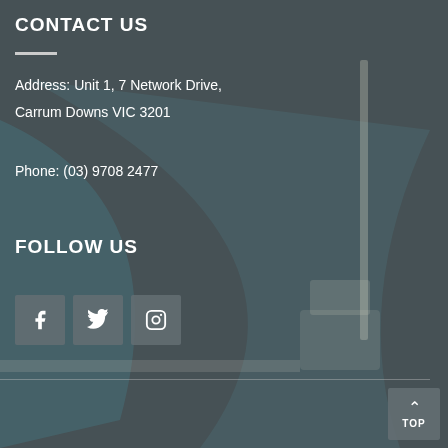CONTACT US
Address: Unit 1, 7 Network Drive,
Carrum Downs VIC 3201
Phone: (03) 9708 2477
FOLLOW US
[Figure (other): Three social media icon buttons: Facebook (f), Twitter (bird), Instagram (camera)]
[Figure (other): Background interior room photo with teal/blue decorative curves overlay, semi-transparent dark overlay]